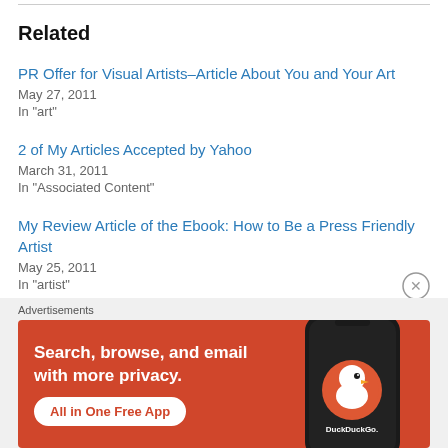Related
PR Offer for Visual Artists–Article About You and Your Art
May 27, 2011
In "art"
2 of My Articles Accepted by Yahoo
March 31, 2011
In "Associated Content"
My Review Article of the Ebook: How to Be a Press Friendly Artist
May 25, 2011
In "artist"
[Figure (other): DuckDuckGo advertisement banner: orange background with text 'Search, browse, and email with more privacy. All in One Free App' and a phone with DuckDuckGo logo]